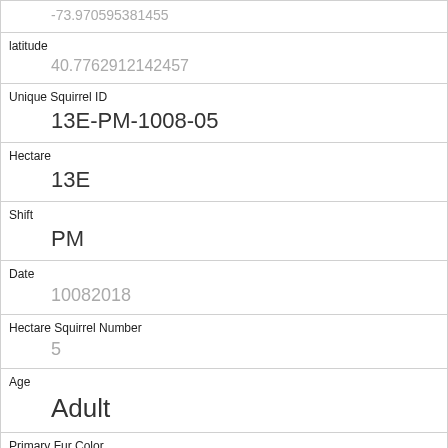| -73.970595381455 |
| latitude | 40.7762912142457 |
| Unique Squirrel ID | 13E-PM-1008-05 |
| Hectare | 13E |
| Shift | PM |
| Date | 10082018 |
| Hectare Squirrel Number | 5 |
| Age | Adult |
| Primary Fur Color | Gray |
| Highlight Fur Color | White |
| Combination of Primary and Highlight Color | Gray+White |